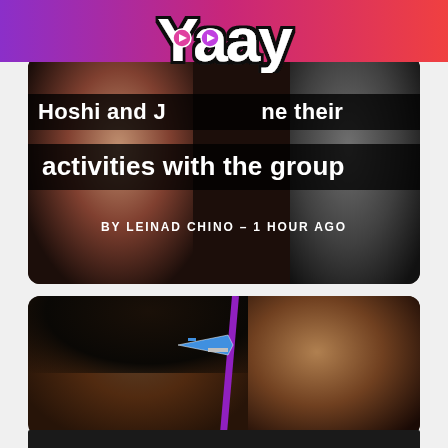[Figure (logo): Yaay logo with gradient pink-to-purple background header bar, white bold text with black outline, play button icons inside letters]
[Figure (photo): Article card showing two faces on dark background with text overlay: partial title 'Hoshi and [name] combine their activities with the group' and byline 'BY LEINAD CHINO - 1 HOUR AGO']
[Figure (photo): Second article card showing close-up face with dark hair, purple stripe graphic, airplane emoji/graphic, and another face on the right on dark background]